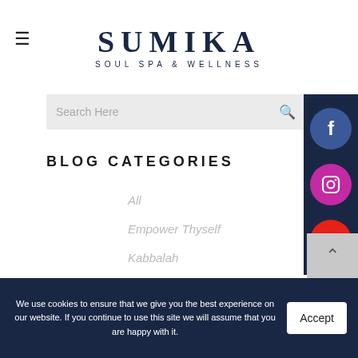SUMIKA SOUL SPA & WELLNESS
Search Here
BLOG CATEGORIES
All
Empower Thyself
Kabbalah
Meditation
Speciality Modalities
Starting Point
We use cookies to ensure that we give you the best experience on our website. If you continue to use this site we will assume that you are happy with it. Accept